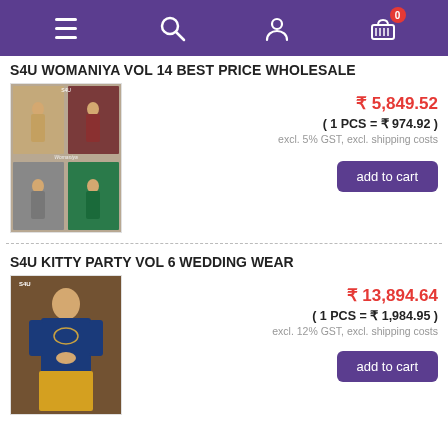Navigation bar with menu, search, account, and cart icons
S4U WOMANIYA VOL 14 BEST PRICE WHOLESALE
[Figure (photo): Product image showing S4U Womaniya clothing catalog with 6 outfits displayed in a grid]
₹ 5,849.52
( 1 PCS = ₹ 974.92 )
excl. 5% GST, excl. shipping costs
add to cart
S4U KITTY PARTY VOL 6 WEDDING WEAR
[Figure (photo): Product image showing a woman wearing a blue embroidered kurti with yellow palazzo pants]
₹ 13,894.64
( 1 PCS = ₹ 1,984.95 )
excl. 12% GST, excl. shipping costs
add to cart